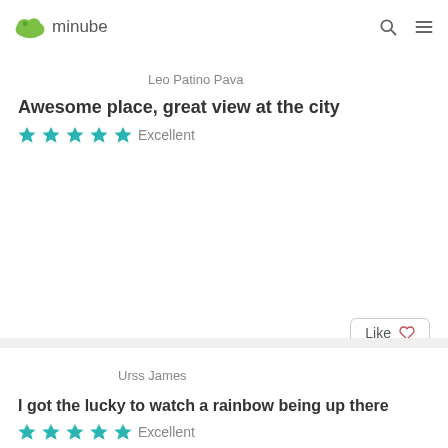minube
Leo Patino Pava
Awesome place, great view at the city
★★★★★ Excellent
Urss James
I got the lucky to watch a rainbow being up there
★★★★★ Excellent